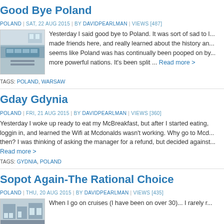Good Bye Poland
POLAND | SAT, 22 AUG 2015 | BY DAVIDPEARLMAN | VIEWS [487]
[Figure (photo): Photo of a train platform with a train car visible]
Yesterday I said good bye to Poland. It was sort of sad to l... made friends here, and really learned about the history an... seems like Poland was has continually been pooped on by... more powerful nations. It's been split ... Read more >
TAGS: POLAND, WARSAW
Gday Gdynia
POLAND | FRI, 21 AUG 2015 | BY DAVIDPEARLMAN | VIEWS [360]
Yesterday I woke up ready to eat my McBreakfast, but after I started eating, loggin in, and learned the Wifi at Mcdonalds wasn't working. Why go to Mcd... then? I was thinking of asking the manager for a refund, but decided against... Read more >
TAGS: GYDNIA, POLAND
Sopot Again-The Rational Choice
POLAND | THU, 20 AUG 2015 | BY DAVIDPEARLMAN | VIEWS [435]
[Figure (photo): Photo thumbnail at bottom of page]
When I go on cruises (I have been on over 30)... I rarely r...